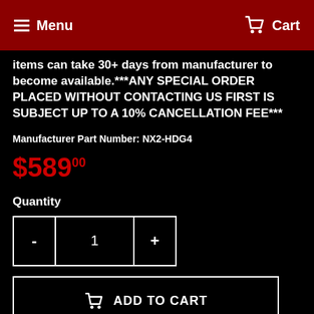Menu   Cart
items can take 30+ days from manufacturer to become available.***ANY SPECIAL ORDER PLACED WITHOUT CONTACTING US FIRST IS SUBJECT UP TO A 10% CANCELLATION FEE***
Manufacturer Part Number: NX2-HDG4
$589.00
Quantity
- 1 +
ADD TO CART